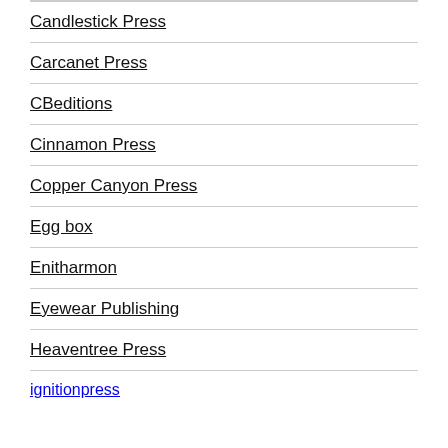Candlestick Press
Carcanet Press
CBeditions
Cinnamon Press
Copper Canyon Press
Egg box
Enitharmon
Eyewear Publishing
Heaventree Press
ignitionpress